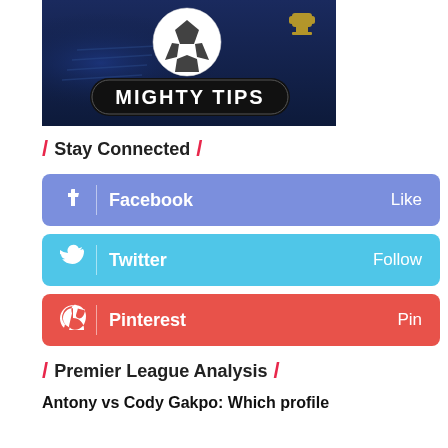[Figure (logo): Mighty Tips logo with soccer ball on dark blue background]
/ Stay Connected /
Facebook  Like
Twitter  Follow
Pinterest  Pin
/ Premier League Analysis /
Antony vs Cody Gakpo: Which profile